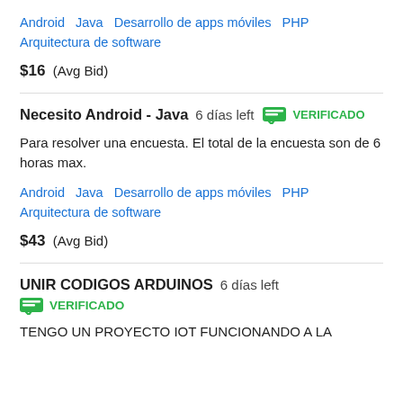Android   Java   Desarrollo de apps móviles   PHP   Arquitectura de software
$16  (Avg Bid)
Necesito Android - Java  6 días left  VERIFICADO
Para resolver una encuesta. El total de la encuesta son de 6 horas max.
Android   Java   Desarrollo de apps móviles   PHP   Arquitectura de software
$43  (Avg Bid)
UNIR CODIGOS ARDUINOS  6 días left  VERIFICADO
TENGO UN PROYECTO IOT FUNCIONANDO A LA